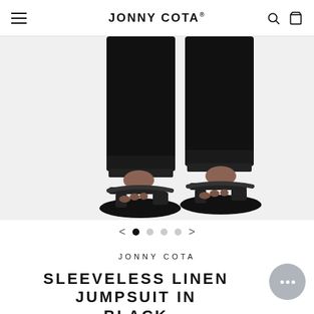JONNY COTA®
[Figure (photo): Lower body shot of a person wearing black linen jumpsuit with cuffed ankles and black leather sandals, against a white background]
< ● ○ ○ ○ >
JONNY COTA
SLEEVELESS LINEN JUMPSUIT IN BLACK